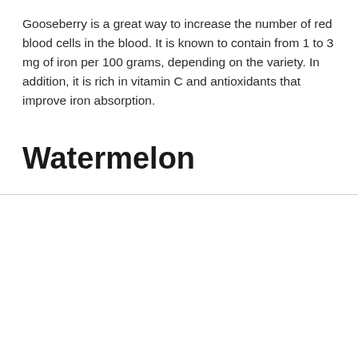Gooseberry is a great way to increase the number of red blood cells in the blood. It is known to contain from 1 to 3 mg of iron per 100 grams, depending on the variety. In addition, it is rich in vitamin C and antioxidants that improve iron absorption.
Watermelon
We use cookies on our website to give you the most relevant experience by remembering your preferences and repeat visits. By clicking “Accept All”, you consent to the use of ALL the cookies. However, you may visit "Cookie Settings" to provide a controlled consent.